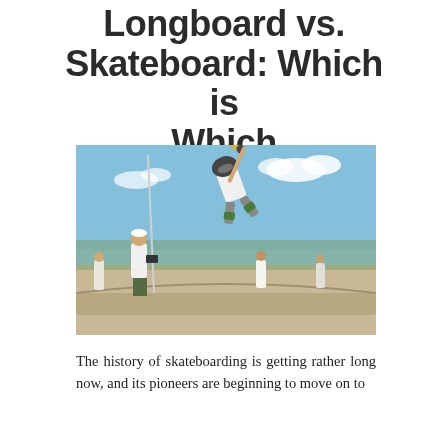Longboard vs. Skateboard: Which is Which
[Figure (photo): Skateboarder performing an aerial trick at a skate park, with other skaters and spectators in the background under a blue sky.]
The history of skateboarding is getting rather long now, and its pioneers are beginning to move on to